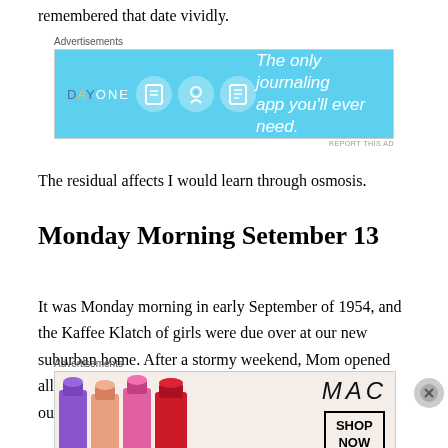remembered that date vividly.
[Figure (other): Day One journaling app advertisement with blue background, icons, and tagline 'The only journaling app you'll ever need.']
The residual affects I would learn through osmosis.
Monday Morning Setember 13
It was Monday morning in early September of 1954, and the Kaffee Klatch of girls were due over at our new suburban home. After a stormy weekend, Mom opened all the windows wide to let in the cooling breeze airing out the
[Figure (other): MAC cosmetics advertisement showing lipsticks and 'SHOP NOW' button]